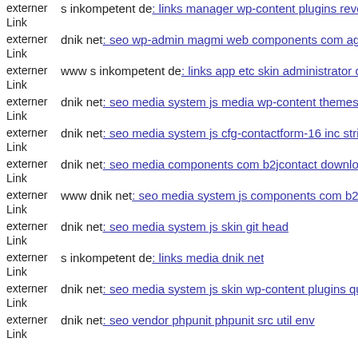externer Link  s inkompetent de: links manager wp-content plugins revolu
externer Link  dnik net: seo wp-admin magmi web components com agora
externer Link  www s inkompetent de: links app etc skin administrator com
externer Link  dnik net: seo media system js media wp-content themes baz
externer Link  dnik net: seo media system js cfg-contactform-16 inc string
externer Link  dnik net: seo media components com b2jcontact downloade
externer Link  www dnik net: seo media system js components com b2jco
externer Link  dnik net: seo media system js skin git head
externer Link  s inkompetent de: links media dnik net
externer Link  dnik net: seo media system js skin wp-content plugins quiz-
externer Link  dnik net: seo vendor phpunit phpunit src util env